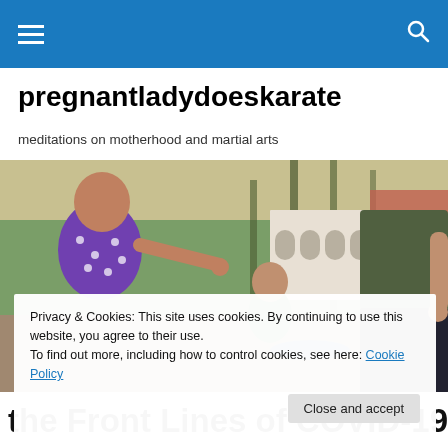Navigation bar with hamburger menu and search icon
pregnantladydoeskarate
meditations on motherhood and martial arts
[Figure (photo): Two children outdoors in a park-like setting with palm trees and a white building in the background. A young girl in a purple polka-dot dress reaches out toward an adult partially visible on the right wearing a dark t-shirt and jeans.]
Privacy & Cookies: This site uses cookies. By continuing to use this website, you agree to their use.
To find out more, including how to control cookies, see here: Cookie Policy
Close and accept
the Front Lines of COVID-19